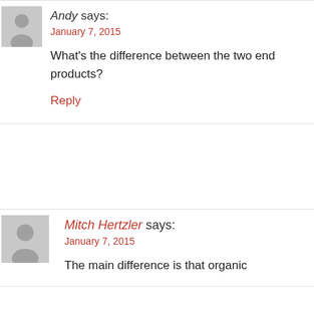[Figure (illustration): Gray avatar silhouette icon for user Andy]
Andy says:
January 7, 2015
What's the difference between the two end products?
Reply
[Figure (illustration): Gray avatar silhouette icon for user Mitch Hertzler]
Mitch Hertzler says:
January 7, 2015
The main difference is that organic